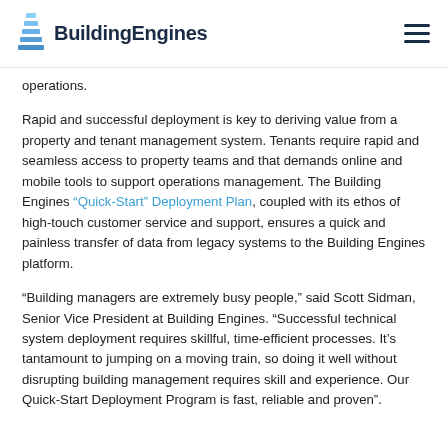BuildingEngines
operations.
Rapid and successful deployment is key to deriving value from a property and tenant management system. Tenants require rapid and seamless access to property teams and that demands online and mobile tools to support operations management. The Building Engines “Quick-Start” Deployment Plan, coupled with its ethos of high-touch customer service and support, ensures a quick and painless transfer of data from legacy systems to the Building Engines platform.
“Building managers are extremely busy people,” said Scott Sidman, Senior Vice President at Building Engines. “Successful technical system deployment requires skillful, time-efficient processes. It’s tantamount to jumping on a moving train, so doing it well without disrupting building management requires skill and experience. Our Quick-Start Deployment Program is fast, reliable and proven”.